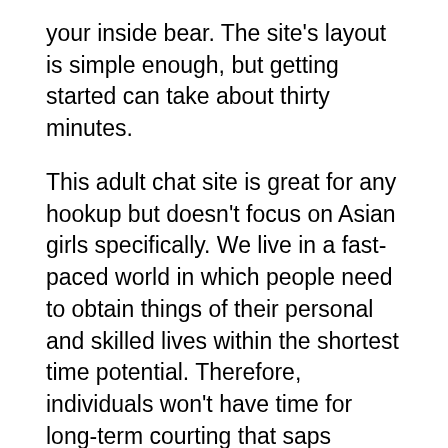your inside bear. The site's layout is simple enough, but getting started can take about thirty minutes.
This adult chat site is great for any hookup but doesn't focus on Asian girls specifically. We live in a fast-paced world in which people need to obtain things of their personal and skilled lives within the shortest time potential. Therefore, individuals won't have time for long-term courting that saps energy and takes lots of time to consummate.
You can create a free account or sign as a lot as interact with models and pay for private shows. Meet in Chat is a model new adult chat room that brings clean interface and consumer experience to